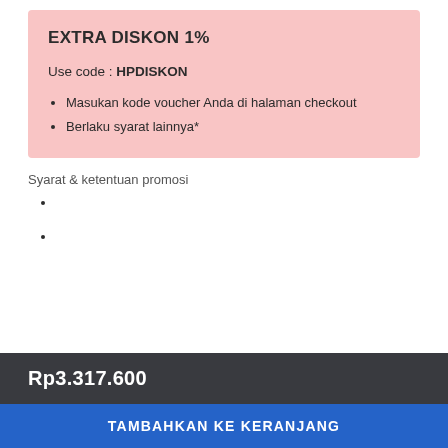EXTRA DISKON 1%
Use code : HPDISKON
Masukan kode voucher Anda di halaman checkout
Berlaku syarat lainnya*
Syarat & ketentuan promosi
Rp3.317.600
TAMBAHKAN KE KERANJANG